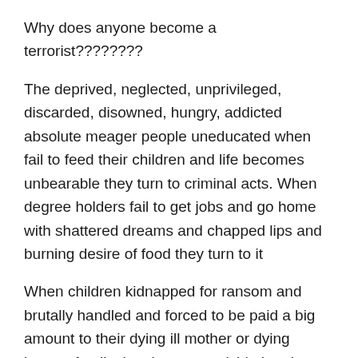Why does anyone become a terrorist????????
The deprived, neglected, unprivileged, discarded, disowned, hungry, addicted absolute meager people uneducated when fail to feed their children and life becomes unbearable they turn to criminal acts. When degree holders fail to get jobs and go home with shattered dreams and chapped lips and burning desire of food they turn to it
When children kidnapped for ransom and brutally handled and forced to be paid a big amount to their dying ill mother or dying hungry family they become suicide bombers. A child is born innocent. No matter which family, religion color or cast he belongs too—— so it's unkind and hurting to point out blaming any religion or anyone a terrorist. Satan has no religion————-all these wrong doers are not